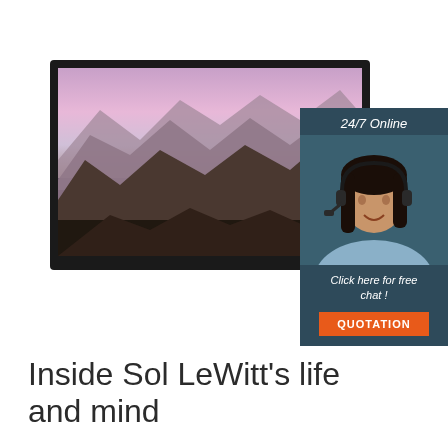[Figure (photo): A flat-screen TV/monitor displaying a mountain landscape with purple/pink sky at dusk, shown in perspective on a white background]
[Figure (infographic): 24/7 online chat widget with dark blue-grey background showing a smiling woman with headset, text 'Click here for free chat!' and an orange QUOTATION button]
[Figure (logo): TOP logo with orange dots forming a triangle/arch above the letters TOP in orange and dark text]
Inside Sol LeWitt's life and mind